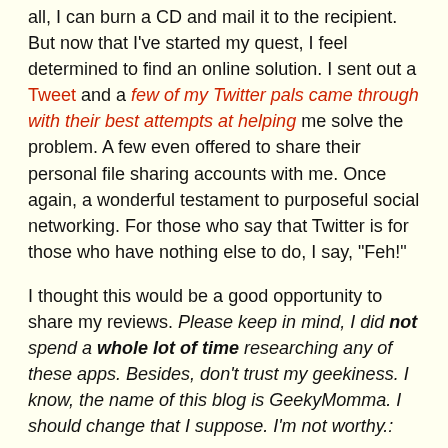all, I can burn a CD and mail it to the recipient. But now that I've started my quest, I feel determined to find an online solution. I sent out a Tweet and a few of my Twitter pals came through with their best attempts at helping me solve the problem. A few even offered to share their personal file sharing accounts with me. Once again, a wonderful testament to purposeful social networking. For those who say that Twitter is for those who have nothing else to do, I say, "Feh!"
I thought this would be a good opportunity to share my reviews. Please keep in mind, I did not spend a whole lot of time researching any of these apps. Besides, don't trust my geekiness. I know, the name of this blog is GeekyMomma. I should change that I suppose. I'm not worthy.:
[Figure (screenshot): A tweet/social media post screenshot showing a user avatar and tweet text with a link to www.senduit.com]
www.senduit.com has a 100MB limit. It's worth noting that you can choose when your file expires too, anywhere from